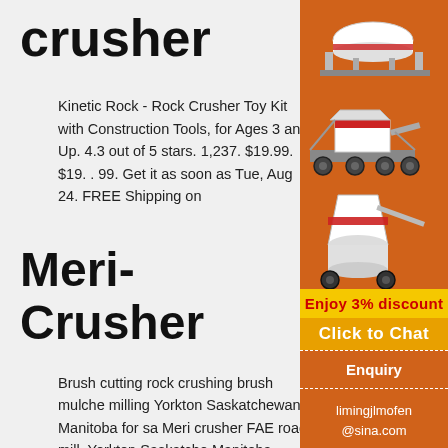crusher
Kinetic Rock - Rock Crusher Toy Kit with Construction Tools, for Ages 3 and Up. 4.3 out of 5 stars. 1,237. $19.99. $19. . 99. Get it as soon as Tue, Aug 24. FREE Shipping on
Meri-Crusher
Brush cutting rock crushing brush mulche milling Yorkton Saskatchewan Manitoba for sa Meri crusher FAE road mill. Yorkton Saskatche Manitoba Degelman Mower Culvert Landa Cu Blade Teeth Used HDPE Plastic Schulte Bush 1500 Side Arm pressure washer drainage tile tile sale buy sell used carbide parts book ...
[Figure (illustration): Orange sidebar with industrial rock crushing machinery images stacked vertically on orange background, with Enjoy 3% discount bar, Click to Chat button, Enquiry link, and email address limingjlmofen@sina.com]
Concrete, Gravel, Impact & Rock